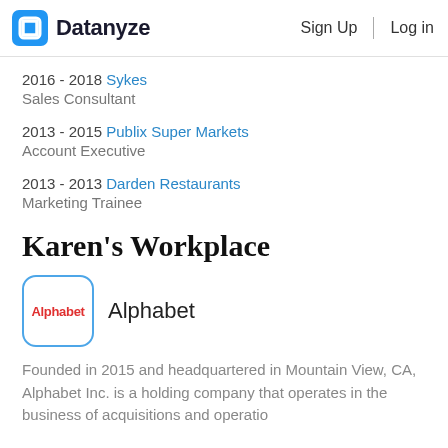Datanyze   Sign Up   Log in
2016 - 2018 Sykes
Sales Consultant
2013 - 2015 Publix Super Markets
Account Executive
2013 - 2013 Darden Restaurants
Marketing Trainee
Karen's Workplace
[Figure (logo): Alphabet company logo in a rounded square with blue border]
Alphabet
Founded in 2015 and headquartered in Mountain View, CA, Alphabet Inc. is a holding company that operates in the business of acquisitions and operations